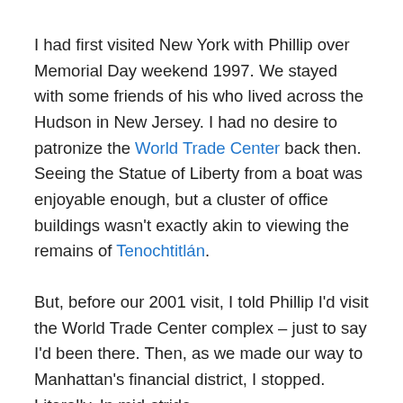I had first visited New York with Phillip over Memorial Day weekend 1997. We stayed with some friends of his who lived across the Hudson in New Jersey. I had no desire to patronize the World Trade Center back then. Seeing the Statue of Liberty from a boat was enjoyable enough, but a cluster of office buildings wasn't exactly akin to viewing the remains of Tenochtitlán.
But, before our 2001 visit, I told Phillip I'd visit the World Trade Center complex – just to say I'd been there. Then, as we made our way to Manhattan's financial district, I stopped. Literally. In mid-stride.
“What's wrong?” Phillip asked me.
I was silent for a moment. “Nothing,” I finally said. I don't know what it was, but I had suddenly developed a